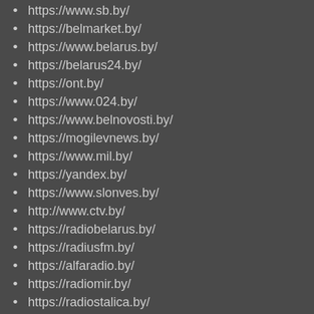https://www.sb.by/
https://belmarket.by/
https://www.belarus.by/
https://belarus24.by/
https://ont.by/
https://www.024.by/
https://www.belnovosti.by/
https://mogilevnews.by/
https://www.mil.by/
https://yandex.by/
https://www.slonves.by/
http://www.ctv.by/
https://radiobelarus.by/
https://radiusfm.by/
https://alfaradio.by/
https://radiomir.by/
https://radiostalica.by/
https://radiobrestfm.by/
https://www.tvr.by/